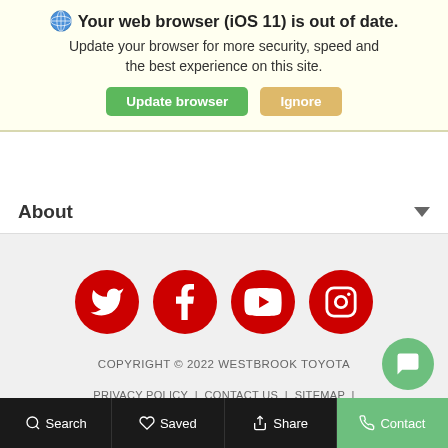🌐 Your web browser (iOS 11) is out of date. Update your browser for more security, speed and the best experience on this site. [Update browser] [Ignore]
About
[Figure (illustration): Four red circular social media icons: Twitter, Facebook, YouTube, Instagram]
COPYRIGHT © 2022 WESTBROOK TOYOTA
PRIVACY POLICY | CONTACT US | SITEMAP | ADVANCED AUTOMOTIVE DEALER WEBSITES BY DEALER INSPIRE
Search  Saved  Share  Contact